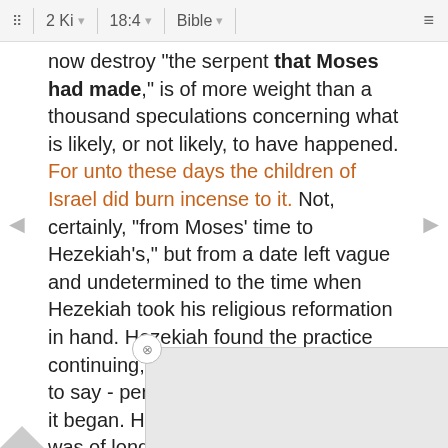2 Ki | 18:4 | Bible
now destroy "the serpent that Moses had made," is of more weight than a thousand speculations concerning what is likely, or not likely, to have happened. For unto these days the children of Israel did burn incense to it. Not, certainly, "from Moses' time to Hezekiah's," but from a date left vague and undetermined to the time when Hezekiah took his religious reformation in hand. Hezekiah found the practice continuing; the writer is not concerned to say - perhaps does net know - when it began. He implies, however, that it was of long standing. Serpent-worship was widely spread in the East, and there was more excuse for directing religious regard toward this serpent than toward any other. And he called it Nahushtan: rather, and it was called Nahushtan indefinitely they